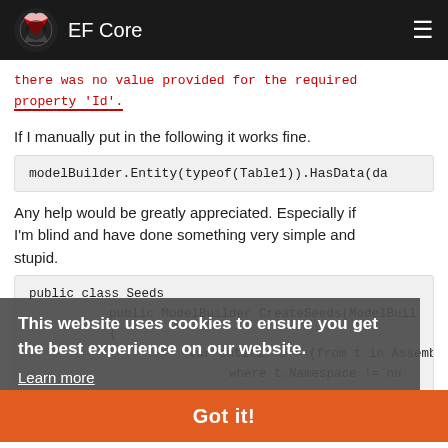EF Core
there was no value provided for the required property 'Id'.
If I manually put in the following it works fine.
modelBuilder.Entity(typeof(Table1)).HasData(da
Any help would be greatly appreciated. Especially if I'm blind and have done something very simple and stupid.
public class Seeds
public ModelBuilder CreateSeeds(ModelBuil
    {
        var entities = (from t in Assembly.Ge
            where t.Namespace != nu
This website uses cookies to ensure you get the best experience on our website.
Learn more
Got it!